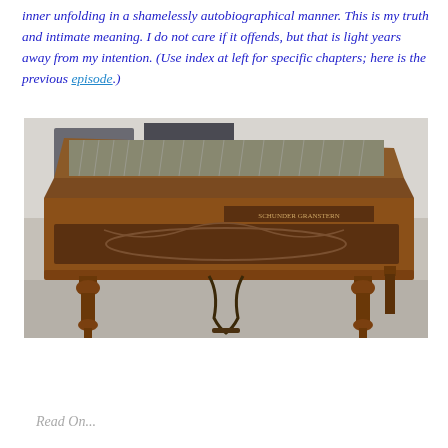inner unfolding in a shamelessly autobiographical manner. This is my truth and intimate meaning. I do not care if it offends, but that is light years away from my intention. (Use index at left for specific chapters; here is the previous episode.)
[Figure (photo): Photograph of an antique upright piano or keyboard instrument with ornate carved wooden legs and decorative front panel, viewed from a slightly elevated angle, lid open revealing the strings inside.]
Read On...